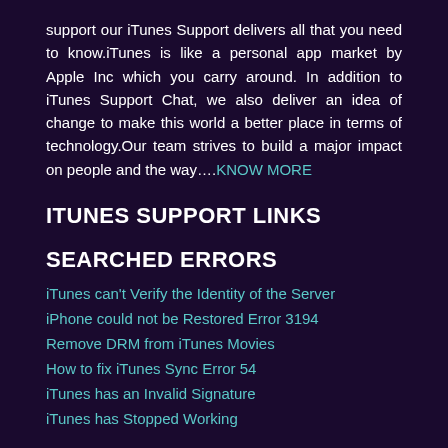support our iTunes Support delivers all that you need to know.iTunes is like a personal app market by Apple Inc which you carry around. In addition to iTunes Support Chat, we also deliver an idea of change to make this world a better place in terms of technology.Our team strives to build a major impact on people and the way….KNOW MORE
ITUNES SUPPORT LINKS
SEARCHED ERRORS
iTunes can't Verify the Identity of the Server
iPhone could not be Restored Error 3194
Remove DRM from iTunes Movies
How to fix iTunes Sync Error 54
iTunes has an Invalid Signature
iTunes has Stopped Working